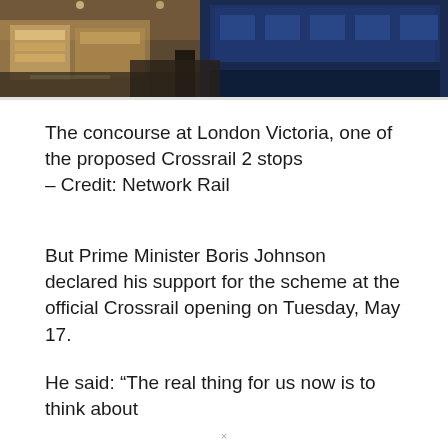[Figure (photo): Interior of London Victoria station concourse showing shops and a blue train in the background]
The concourse at London Victoria, one of the proposed Crossrail 2 stops
– Credit: Network Rail
But Prime Minister Boris Johnson declared his support for the scheme at the official Crossrail opening on Tuesday, May 17.
He said: “The real thing for us now is to think about